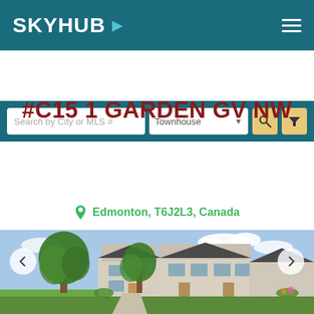SKYHUB
Search by City or MLS #  Townhouse
#C15 1 GARDEN GV NW
$ 155,000
Edmonton, T6J2L3, Canada
[Figure (photo): Exterior photo of a townhouse complex with large trees, green lawn, and a walkway leading to the entrance]